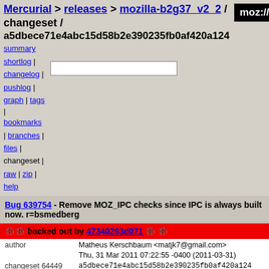Mercurial > releases > mozilla-b2g37_v2_2 / changeset / a5dbece71e4abc15d58b2e390235fb0af420a124
summary
shortlog |
changelog |
pushlog |
graph | tags
bookmarks | branches |
files |
changeset |
raw | zip |
help
Bug 639754 - Remove MOZ_IPC checks since IPC is always built now. r=bsmedberg
| field | value |
| --- | --- |
| backed out by | 47340263d071 |
| author | Matheus Kerschbaum <matjk7@gmail.com> |
|  | Thu, 31 Mar 2011 07:22:55 -0400 (2011-03-31) |
| changeset 64449 | a5dbece71e4abc15d58b2e390235fb0af420a124 |
| parent 64448 | ad4889b72e448992095fa7acd792aa3e562ff0c4 |
| child 64450 | b65953071f2fe0c371bd782e7b72360ac7e1faac |
| child 64462 | 47340263d0712dbac9e37e1a02b2ff1cf2a38112 |
| push id | unknown |
| push user | unknown |